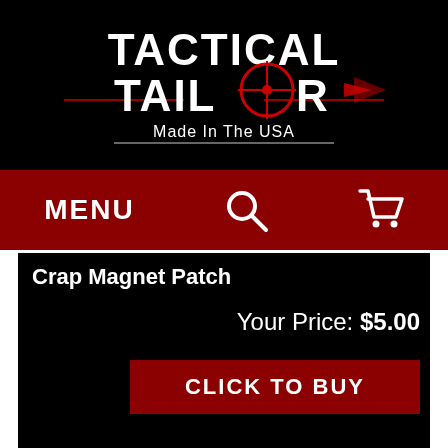[Figure (logo): Tactical Tailor logo - white distressed text on black background reading TACTICAL TAILOR with a crosshair/scope sight on the O, red accent lines, and 'Made In The USA' subtitle]
MENU  [search icon]  [cart icon]
Crap Magnet Patch
Your Price: $5.00
CLICK TO BUY